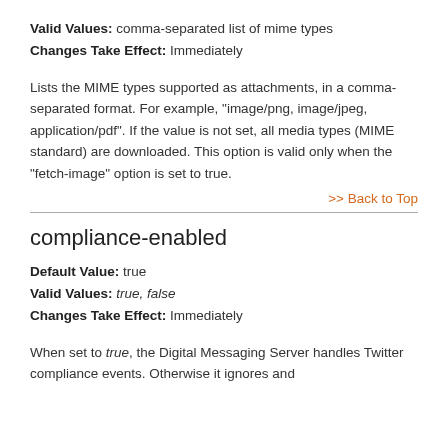Valid Values: comma-separated list of mime types
Changes Take Effect: Immediately
Lists the MIME types supported as attachments, in a comma-separated format. For example, "image/png, image/jpeg, application/pdf". If the value is not set, all media types (MIME standard) are downloaded. This option is valid only when the "fetch-image" option is set to true.
>> Back to Top
compliance-enabled
Default Value: true
Valid Values: true, false
Changes Take Effect: Immediately
When set to true, the Digital Messaging Server handles Twitter compliance events. Otherwise it ignores and